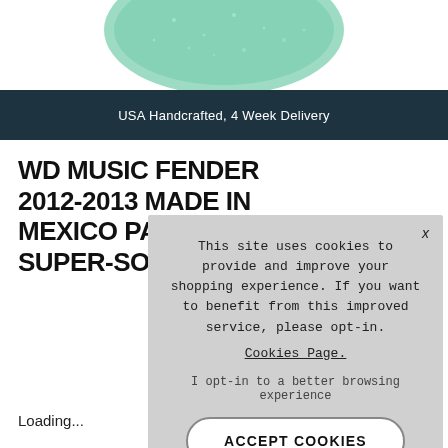[Figure (illustration): Partial top view of a guitar/pickguard in teal/green sparkle finish, cropped at top]
USA Handcrafted, 4 Week Delivery
WD MUSIC FENDER 2012-2013 MADE IN MEXICO PAWN SHOP SUPER-SONIC
This site uses cookies to provide and improve your shopping experience. If you want to benefit from this improved service, please opt-in.
Cookies Page.
I opt-in to a better browsing experience
ACCEPT COOKIES
Loading...